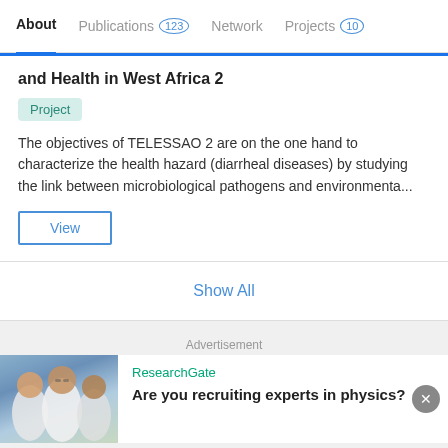About  Publications 123  Network  Projects 10
and Health in West Africa 2
Project
The objectives of TELESSAO 2 are on the one hand to characterize the health hazard (diarrheal diseases) by studying the link between microbiological pathogens and environmenta...
View
Show All
Advertisement
ResearchGate
Are you recruiting experts in physics?